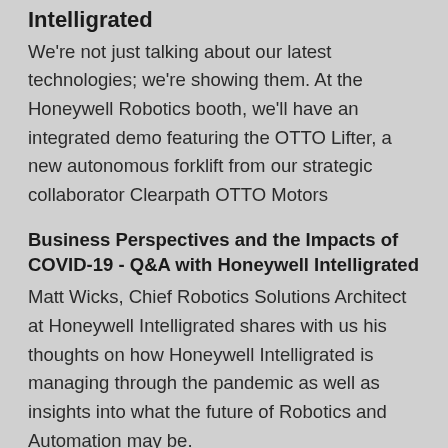Intelligrated
We're not just talking about our latest technologies; we're showing them. At the Honeywell Robotics booth, we'll have an integrated demo featuring the OTTO Lifter, a new autonomous forklift from our strategic collaborator Clearpath OTTO Motors
Business Perspectives and the Impacts of COVID-19 - Q&A with Honeywell Intelligrated
Matt Wicks, Chief Robotics Solutions Architect at Honeywell Intelligrated shares with us his thoughts on how Honeywell Intelligrated is managing through the pandemic as well as insights into what the future of Robotics and Automation may be.